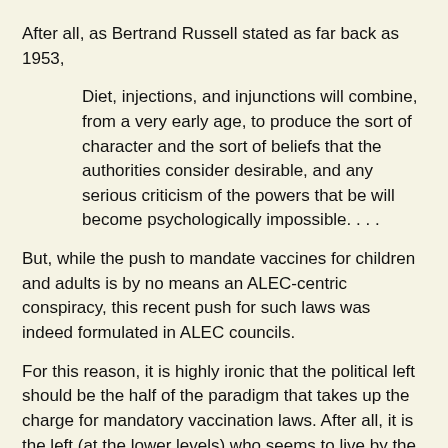After all, as Bertrand Russell stated as far back as 1953,
Diet, injections, and injunctions will combine, from a very early age, to produce the sort of character and the sort of beliefs that the authorities consider desirable, and any serious criticism of the powers that be will become psychologically impossible. . . .
But, while the push to mandate vaccines for children and adults is by no means an ALEC-centric conspiracy, this recent push for such laws was indeed formulated in ALEC councils.
For this reason, it is highly ironic that the political left should be the half of the paradigm that takes up the charge for mandatory vaccination laws. After all, it is the left (at the lower levels) who seems to live by the motto “If ALEC supports it, we oppose it.” This time, all it took was some clever propaganda, trendy nudging, and social shaming and the left was marching right behind ALEC as militantly as if the were Republicans all along.